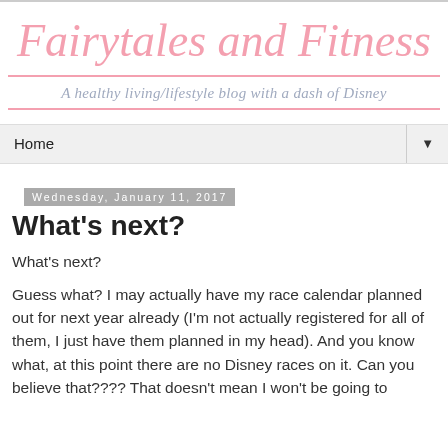Fairytales and Fitness
A healthy living/lifestyle blog with a dash of Disney
Home
Wednesday, January 11, 2017
What's next?
What's next?
Guess what? I may actually have my race calendar planned out for next year already (I'm not actually registered for all of them, I just have them planned in my head).  And you know what, at this point there are no Disney races on it. Can you believe that????  That doesn't mean I won't be going to